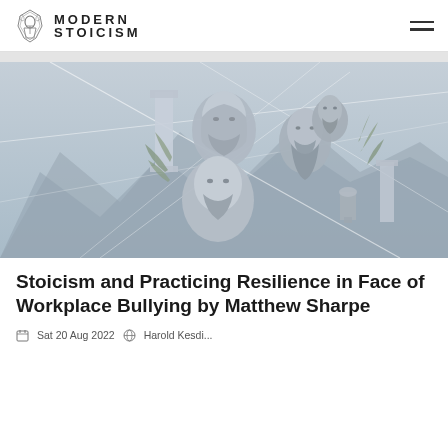MODERN STOICISM
[Figure (illustration): Composite artwork showing classical busts/sculptures of ancient philosophers arranged together against a stylized blue-grey geometric mountain landscape background with botanical elements and decorative column fragments.]
Stoicism and Practicing Resilience in Face of Workplace Bullying by Matthew Sharpe
Sat 20 Aug 2022  Harold Kesdi...